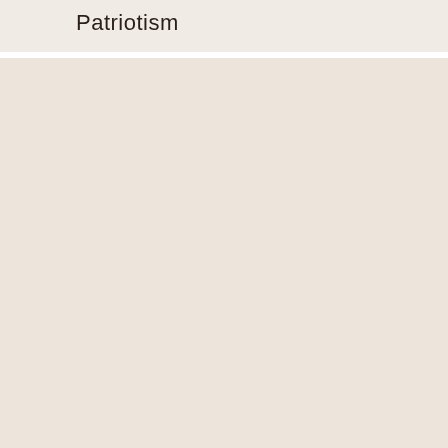Patriotism
[Figure (other): Large blank warm beige/pink toned rectangular area filling most of the page below the title section]